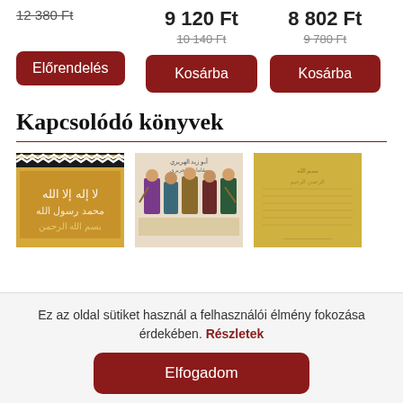12 380 Ft (strikethrough)
9 120 Ft
10 140 Ft (strikethrough)
8 802 Ft
9 780 Ft (strikethrough)
Előrendelés (button)
Kosárba (button)
Kosárba (button)
Kapcsolódó könyvek
[Figure (photo): Book cover with Arabic calligraphy and Islamic geometric patterns in black, white and gold]
[Figure (photo): Book cover with medieval manuscript illustration showing figures with colorful garments]
[Figure (photo): Book cover with golden/yellow background and faint text]
Ez az oldal sütiket használ a felhasználói élmény fokozása érdekében. Részletek
Elfogadom (button)